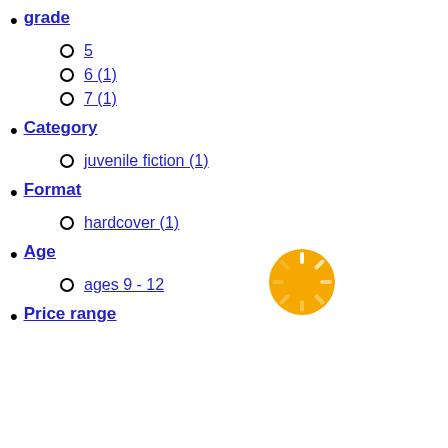grade
5
6 (1)
7 (1)
Category
juvenile fiction (1)
Format
hardcover (1)
Age
ages 9 - 12
Price range